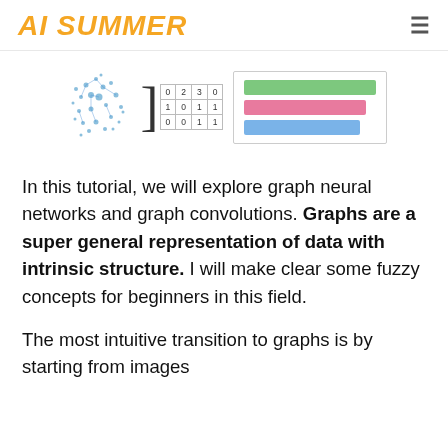AI SUMMER
[Figure (illustration): A graph neural network illustration showing a point cloud/graph image on the left, an adjacency matrix in the middle, and colored horizontal bars (green, pink, blue) representing feature embeddings on the right.]
In this tutorial, we will explore graph neural networks and graph convolutions. Graphs are a super general representation of data with intrinsic structure. I will make clear some fuzzy concepts for beginners in this field.
The most intuitive transition to graphs is by starting from images